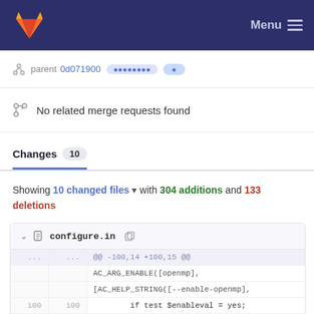GitLab — Menu
parent 0d071900 [pill] [pill]
No related merge requests found
Changes 10
Showing 10 changed files with 304 additions and 133 deletions
configure.in — code diff: @@ -100,14 +100,15 @@ AC_ARG_ENABLE([openmp], [AC_HELP_STRING([--enable-openmp], if test $enableval = yes; then [AC_MSG_RESULT(yes)]